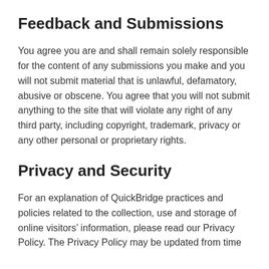Feedback and Submissions
You agree you are and shall remain solely responsible for the content of any submissions you make and you will not submit material that is unlawful, defamatory, abusive or obscene. You agree that you will not submit anything to the site that will violate any right of any third party, including copyright, trademark, privacy or any other personal or proprietary rights.
Privacy and Security
For an explanation of QuickBridge practices and policies related to the collection, use and storage of online visitors’ information, please read our Privacy Policy. The Privacy Policy may be updated from time